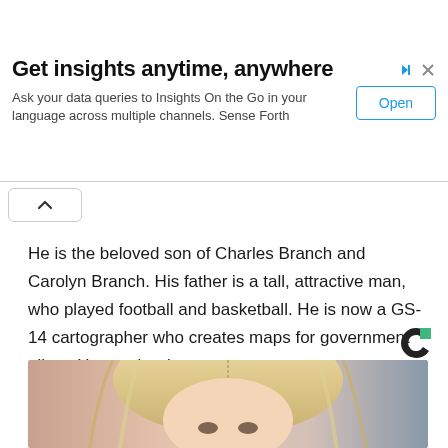[Figure (other): Advertisement banner: 'Get insights anytime, anywhere' with subtitle text and Open button]
He is the beloved son of Charles Branch and Carolyn Branch. His father is a tall, attractive man, who played football and basketball. He is now a GS-14 cartographer who creates maps for government pilots. Her mother is a nurse.
[Figure (logo): Taboola 'C' logo in black and green]
[Figure (photo): Photo of a blonde woman, partial view showing top of head and face]